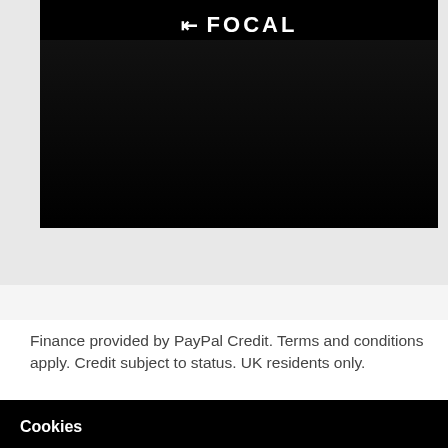[Figure (screenshot): Focal brand banner image with logo on dark background with audio equipment visible]
Finance provided by PayPal Credit. Terms and conditions apply. Credit subject to status. UK residents only.
Cookies
We use cookies to give you the best online experience, please continue or click here to customise your preferences